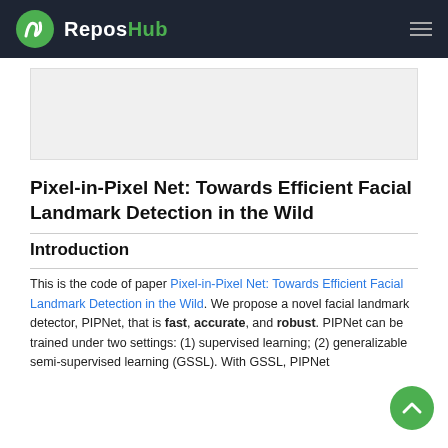ReposHub
Pixel-in-Pixel Net: Towards Efficient Facial Landmark Detection in the Wild
Introduction
This is the code of paper Pixel-in-Pixel Net: Towards Efficient Facial Landmark Detection in the Wild. We propose a novel facial landmark detector, PIPNet, that is fast, accurate, and robust. PIPNet can be trained under two settings: (1) supervised learning; (2) generalizable semi-supervised learning (GSSL). With GSSL, PIPNet...